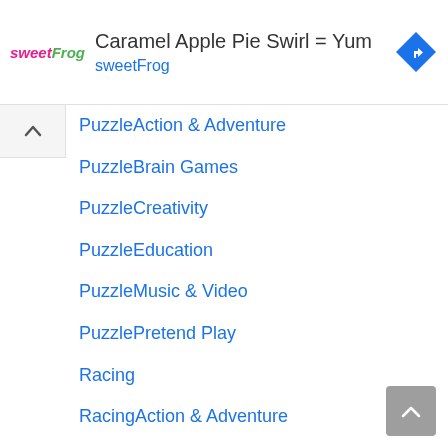[Figure (screenshot): Advertisement banner for sweetFrog: 'Caramel Apple Pie Swirl = Yum' with sweetFrog logo and turn-by-turn navigation icon]
PuzzleAction & Adventure
PuzzleBrain Games
PuzzleCreativity
PuzzleEducation
PuzzleMusic & Video
PuzzlePretend Play
Racing
RacingAction & Adventure
RacingCasual
RacingCreativity